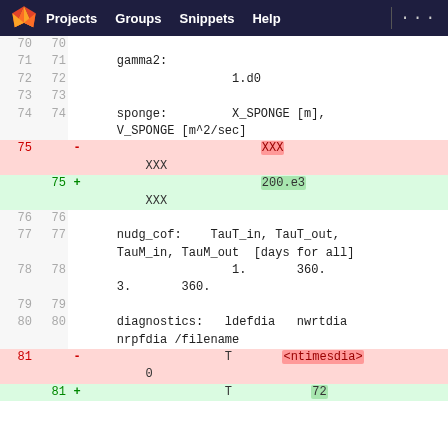GitLab navigation: Projects, Groups, Snippets, Help
[Figure (screenshot): Git diff view showing code changes for lines 70-81 of a configuration file with additions and deletions highlighted]
71 71     gamma2:
72 72                     1.d0
73 73
74 74     sponge:         X_SPONGE [m],
                V_SPONGE [m^2/sec]
75    -                         XXX
           XXX
   75  +                         200.e3
           XXX
76 76
77 77     nudg_cof:    TauT_in, TauT_out,
                TauM_in, TauM_out  [days for all]
78 78                         1.       360.
             3.       360.
79 79
80 80     diagnostics:   ldefdia   nwrtdia
             nrpfdia /filename
81    -                    T       <ntimesdia>
                0
   81  +                    T           72